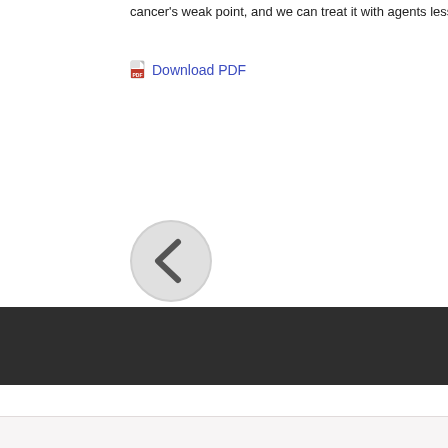cancer's weak point, and we can treat it with agents less injurious to p
Download PDF
[Figure (other): A circular back navigation button with a left-pointing chevron arrow on a light grey background]